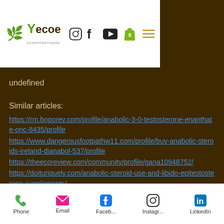[Figure (logo): Yecoe sustainability website header with logo, Instagram, Facebook, YouTube icons, shopping bag with 0, and hamburger menu]
undefined
Similar articles:
https://rm.boporev.com/profile/anabolic-3-0-testosterone-enanthate-onc-8435/profile https://www.dangerousfootpathw11.com/profile/buy-anabolic-steroids-ireland-dianabol-537/profile https://theecoreview.com/community/profile/gana10948752/ https://doituriquely.com/anabolic-steroid-use-and-libido-epitestosterone-supplements/
Phone  Email  Faceb...  Instagr...  LinkedIn